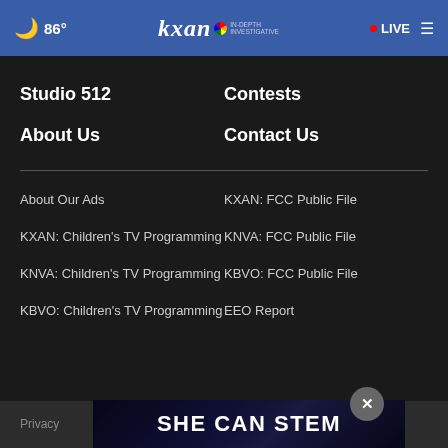86° kxan IN-DEPTH INVESTIGATIVE • LIVE
Studio 512
Contests
About Us
Contact Us
About Our Ads
KXAN: FCC Public File
KXAN: Children's TV Programming
KNVA: FCC Public File
KNVA: Children's TV Programming
KBVO: FCC Public File
KBVO: Children's TV Programming
EEO Report
Privacy
[Figure (screenshot): SHE CAN STEM advertisement banner]